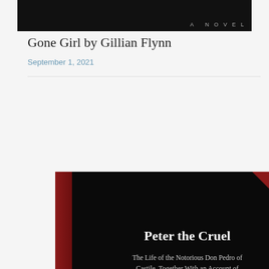[Figure (illustration): Top portion of a dark book cover with 'A NOVEL' text in light gray letters on black background]
Gone Girl by Gillian Flynn
September 1, 2021
[Figure (illustration): Book cover of 'Peter the Cruel: The Life of the Notorious Don Pedro of Castile, Together With an Account of His Relations With the Famous Maria De Padilla' — black background with red spine and corner accent, white text, gold laurel wreath at bottom]